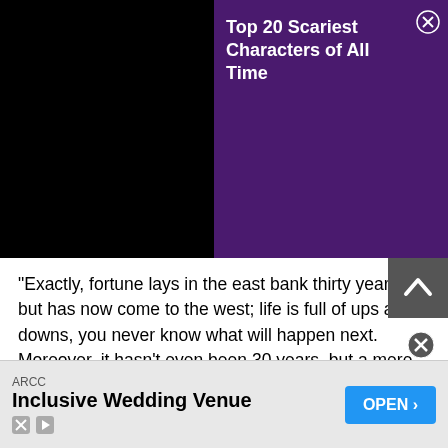[Figure (screenshot): Top banner with black left half and purple right half containing article title 'Top 20 Scariest Characters of All Time' and a close button]
Top 20 Scariest Characters of All Time
"Exactly, fortune lays in the east bank thirty years, but has now come to the west; life is full of ups and downs, you never know what will happen next. Moreover, it hasn't even been 30 years, but a mere few months. That's why I said that Su Xi-er has definitely fallen out of favour. It's hard to sustain Prince Hao's interest. Among all the men, his thoughts are buried the deepest!" The palace maid lamented but felt somewhat pleased in her heart.
Those who were once admired by all have now fallen to the bottom. They must be more miserable than anyone! Rather than that, it's better to stay in the Palace Side Quarters and keep o...
[Figure (screenshot): Advertisement banner for ARCC Inclusive Wedding Venue with OPEN button]